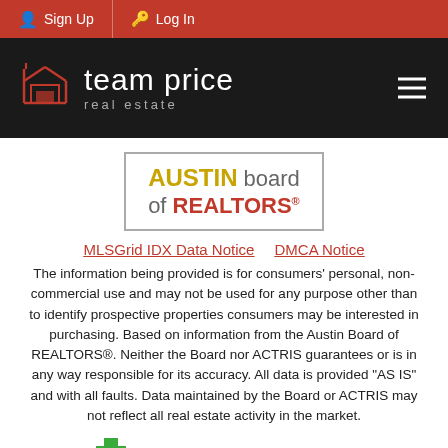Sign Up  Log In
[Figure (logo): Team Price Real Estate logo — house icon outline in orange-red on black background, with text 'team price real estate']
[Figure (logo): Austin Board of REALTORS® logo — AUSTIN in gold bold, 'board of' in gray, REALTORS in red bold with registered trademark symbol, inside a bordered box]
MLSGrid IDX Data Notice   DMCA Notice
The information being provided is for consumers' personal, non-commercial use and may not be used for any purpose other than to identify prospective properties consumers may be interested in purchasing. Based on information from the Austin Board of REALTORS®. Neither the Board nor ACTRIS guarantees or is in any way responsible for its accuracy. All data is provided "AS IS" and with all faults. Data maintained by the Board or ACTRIS may not reflect all real estate activity in the market.
[Figure (logo): CTYMLS logo — partial view showing green and orange plus/cross symbol and large letters CTYMLS in orange and teal]